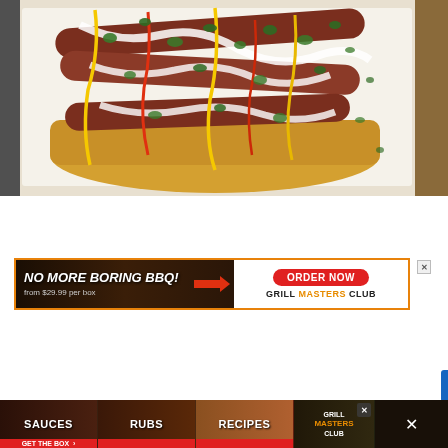[Figure (photo): Overhead photo of gourmet hot dogs in buns on white parchment paper, topped with white sauce, yellow mustard drizzle, red hot sauce, and fresh green herbs/cilantro, served in a dark baking pan]
[Figure (infographic): Advertisement banner: 'NO MORE BORING BBQ! from $29.99 per box' on left with grilled meat background, orange arrow pointing right, 'ORDER NOW' red button, 'GRILL MASTERS CLUB' logo on white right side. Close X button in top right corner.]
[Figure (infographic): Bottom advertisement bar showing SAUCES, RUBS, RECIPES, GRILL MASTERS CLUB sections with 'GET THE BOX >' red strip at bottom. Close X button visible.]